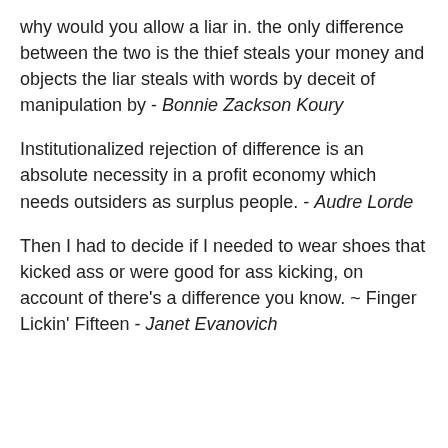why would you allow a liar in. the only difference between the two is the thief steals your money and objects the liar steals with words by deceit of manipulation by - Bonnie Zackson Koury
Institutionalized rejection of difference is an absolute necessity in a profit economy which needs outsiders as surplus people. - Audre Lorde
Then I had to decide if I needed to wear shoes that kicked ass or were good for ass kicking, on account of there's a difference you know. ~ Finger Lickin' Fifteen - Janet Evanovich